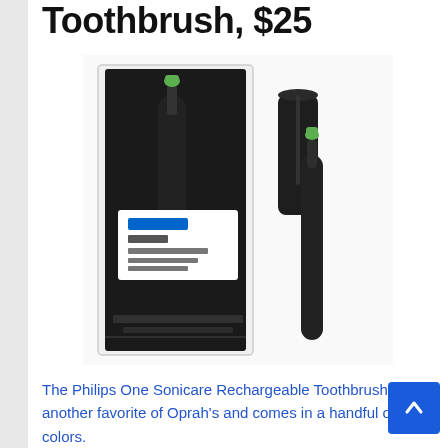Toothbrush, $25
[Figure (photo): Philips One Sonicare Rechargeable Toothbrush product photo showing the toothbrush in its retail box packaging alongside the toothbrush and its travel case, all in black with green brush head]
The Philips One Sonicare Rechargeable Toothbrush is another favorite of Oprah's and comes in a handful of fun colors.
Oprah's Favorite Things 2021 Style